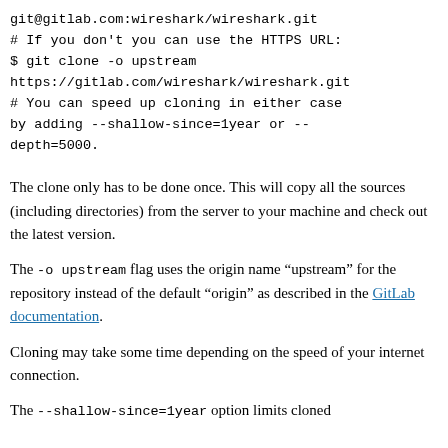git@gitlab.com:wireshark/wireshark.git
# If you don't you can use the HTTPS URL:
$ git clone -o upstream https://gitlab.com/wireshark/wireshark.git
# You can speed up cloning in either case by adding --shallow-since=1year or --depth=5000.
The clone only has to be done once. This will copy all the sources (including directories) from the server to your machine and check out the latest version.
The -o upstream flag uses the origin name “upstream” for the repository instead of the default “origin” as described in the GitLab documentation.
Cloning may take some time depending on the speed of your internet connection.
The --shallow-since=1year option limits cloned